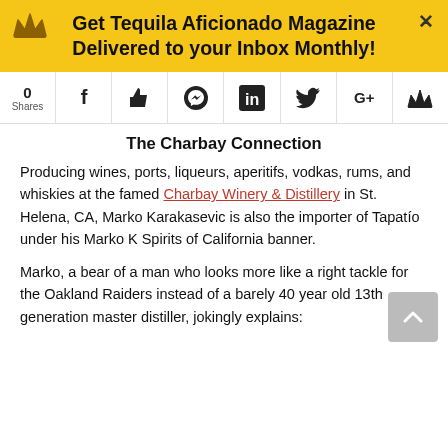Get Tequila Aficionado Magazine Delivered to your Inbox Monthly!
[Figure (infographic): Social share bar with share count (0 Shares) and icons: Facebook, thumbs-up/like, Messenger, LinkedIn, Twitter, Google+, crown/email]
The Charbay Connection
Producing wines, ports, liqueurs, aperitifs, vodkas, rums, and whiskies at the famed Charbay Winery & Distillery in St. Helena, CA, Marko Karakasevic is also the importer of Tapatío under his Marko K Spirits of California banner.
Marko, a bear of a man who looks more like a right tackle for the Oakland Raiders instead of a barely 40 year old 13th generation master distiller, jokingly explains: